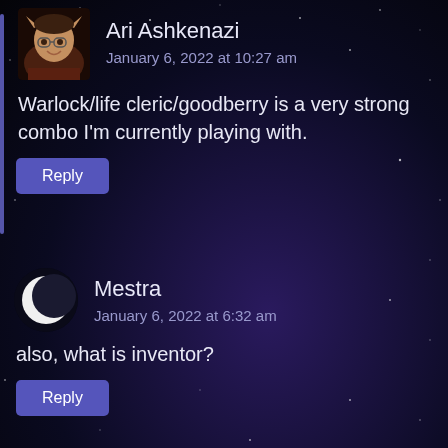[Figure (illustration): Avatar of Ari Ashkenazi: a person with elf ears and glasses, illustrated portrait]
Ari Ashkenazi
January 6, 2022 at 10:27 am
Warlock/life cleric/goodberry is a very strong combo I'm currently playing with.
Reply
[Figure (illustration): Avatar of Mestra: a crescent moon icon (white circle with dark overlay), dark background]
Mestra
January 6, 2022 at 6:32 am
also, what is inventor?
Reply